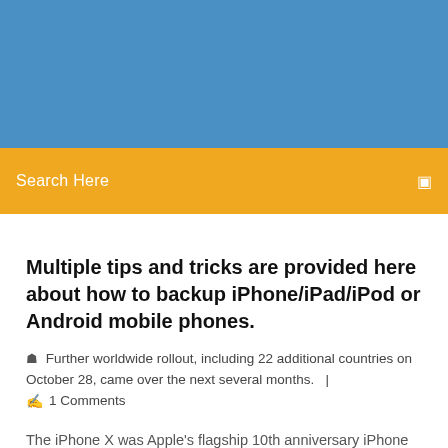[Figure (other): Blue header banner background]
Search Here
Multiple tips and tricks are provided here about how to backup iPhone/iPad/iPod or Android mobile phones.
Further worldwide rollout, including 22 additional countries on October 28, came over the next several months.   |
1 Comments
The iPhone X was Apple's flagship 10th anniversary iPhone